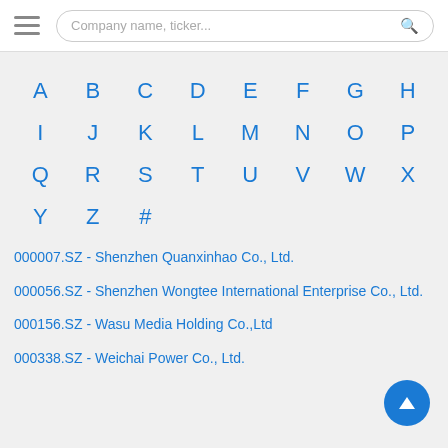Company name, ticker...
A B C D E F G H I J K L M N O P Q R S T U V W X Y Z #
000007.SZ - Shenzhen Quanxinhao Co., Ltd.
000056.SZ - Shenzhen Wongtee International Enterprise Co., Ltd.
000156.SZ - Wasu Media Holding Co.,Ltd
000338.SZ - Weichai Power Co., Ltd.